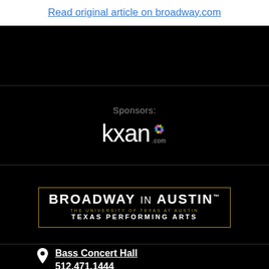Read original article on broadway.com
[Figure (logo): KXAN.com NBC affiliate logo with peacock icon on black background, under 'Sponsors:' label]
[Figure (logo): Broadway in Austin - The University of Texas at Austin Texas Performing Arts logo with gold border on black background]
Bass Concert Hall
512.471.1444